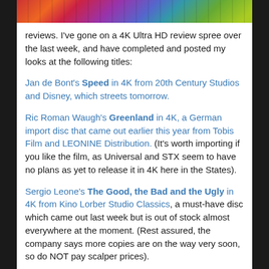[Figure (photo): Partial colorful image strip at the top of the page, showing vivid colors (red, orange, purple, blue, green) likely from a movie or media cover art.]
reviews. I've gone on a 4K Ultra HD review spree over the last week, and have completed and posted my looks at the following titles:
Jan de Bont's Speed in 4K from 20th Century Studios and Disney, which streets tomorrow.
Ric Roman Waugh's Greenland in 4K, a German import disc that came out earlier this year from Tobis Film and LEONINE Distribution. (It's worth importing if you like the film, as Universal and STX seem to have no plans as yet to release it in 4K here in the States).
Sergio Leone's The Good, the Bad and the Ugly in 4K from Kino Lorber Studio Classics, a must-have disc which came out last week but is out of stock almost everywhere at the moment. (Rest assured, the company says more copies are on the way very soon, so do NOT pay scalper prices).
And Don Taylor's The Final Countdown in 4K from Blue Underground, which streets on 5/25.